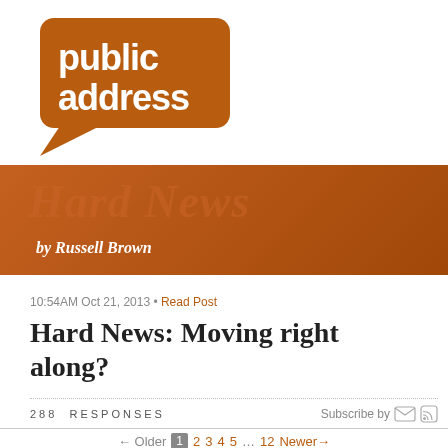[Figure (logo): Public Address logo — brown rounded speech bubble with white text 'public address', with tagline 'A community of blogs']
[Figure (illustration): Hard News banner — brown gradient rectangle with large semi-transparent italic text 'Hard News' and white bold italic subtitle 'by Russell Brown']
10:54AM Oct 21, 2013 • Read Post
Hard News: Moving right along?
288 RESPONSES   Subscribe by [email] [rss]
← Older  1  2 3 4 5 … 12  Newer →